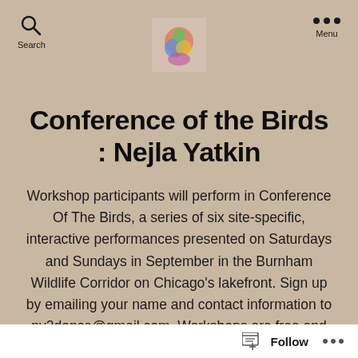Search | [Logo image] | Menu
Conference of the Birds : Nejla Yatkin
Workshop participants will perform in Conference Of The Birds, a series of six site-specific, interactive performances presented on Saturdays and Sundays in September in the Burnham Wildlife Corridor on Chicago's lakefront. Sign up by emailing your name and contact information to ny2dance@gmail.com. Workshops are free and open to
Follow ...